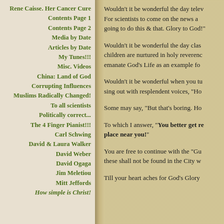Rene Caisse. Her Cancer Cure
Contents Page 1
Contents Page 2
Media by Date
Articles by Date
My Tunes!!!
Misc. Videos
China: Land of God
Corrupting Influences
Muslims Radically Changed!
To all scientists
Politically correct...
The 4 Finger Pianist!!!
Carl Schwing
David & Laura Walker
David Weber
David Ogaga
Jim Meletiou
Mitt Jeffords
How simple is Christ!
Wouldn't it be wonderful the day telev... For scientists to come on the news a... going to do this & that. Glory to God!"
Wouldn't it be wonderful the day clas... children are nurtured in holy reverenc... emanate God's Life as an example fo...
Wouldn't it be wonderful when you tu... sing out with resplendent voices, "Ho...
Some may say, "But that's boring. Ho...
To which I answer, "You better get re... place near you!"
You are free to continue with the "Gu... these shall not be found in the City w...
Till your heart aches for God's Glory...